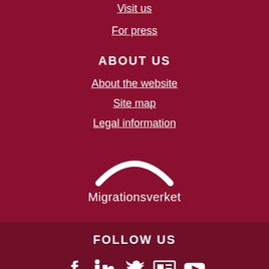Visit us
For press
ABOUT US
About the website
Site map
Legal information
[Figure (logo): Migrationsverket logo with white arc/bridge symbol above the text 'Migrationsverket']
FOLLOW US
[Figure (infographic): Social media icons: Facebook, LinkedIn, Twitter, newspaper/RSS, YouTube]